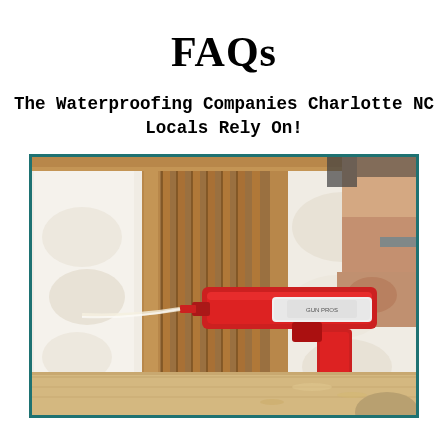FAQs
The Waterproofing Companies Charlotte NC Locals Rely On!
[Figure (photo): A person using a red caulk gun to apply sealant or foam insulation between wooden wall framing studs, with white spray foam insulation visible on the wall panels. Construction/waterproofing work in progress.]